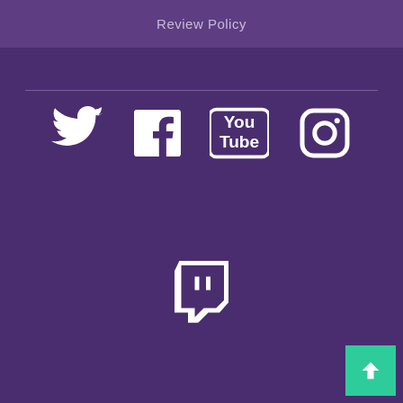Review Policy
[Figure (logo): Social media icons row: Twitter bird, Facebook f, YouTube (You/Tube), Instagram camera]
[Figure (logo): Twitch logo icon (white speech bubble with T)]
© 2022 Luster Network LLC. All Rights Reserved.
Close X
[Figure (screenshot): Video thumbnail for 'Tony Hawk's Pr...' showing a skateboarder silhouette against cloudy sky with play button overlay]
[Figure (screenshot): Advertisement banner showing 'omewhere' text on red/dark background with Moviefone logo]